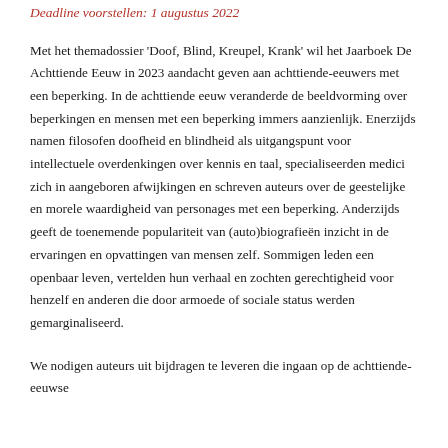Deadline voorstellen: 1 augustus 2022
Met het themadossier 'Doof, Blind, Kreupel, Krank' wil het Jaarboek De Achttiende Eeuw in 2023 aandacht geven aan achttiende-eeuwers met een beperking. In de achttiende eeuw veranderde de beeldvorming over beperkingen en mensen met een beperking immers aanzienlijk. Enerzijds namen filosofen doofheid en blindheid als uitgangspunt voor intellectuele overdenkingen over kennis en taal, specialiseerden medici zich in aangeboren afwijkingen en schreven auteurs over de geestelijke en morele waardigheid van personages met een beperking. Anderzijds geeft de toenemende populariteit van (auto)biografieën inzicht in de ervaringen en opvattingen van mensen zelf. Sommigen leden een openbaar leven, vertelden hun verhaal en zochten gerechtigheid voor henzelf en anderen die door armoede of sociale status werden gemarginaliseerd.
We nodigen auteurs uit bijdragen te leveren die ingaan op de achttiende-eeuwse…